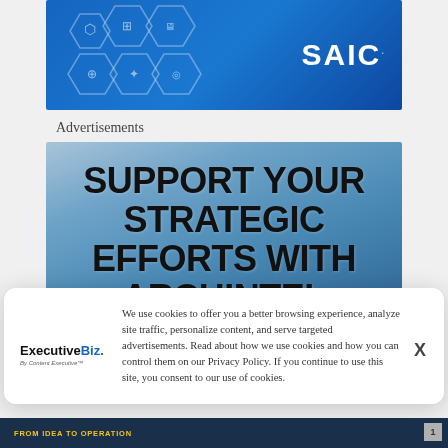[Figure (logo): SAIC banner with blue hexagonal technology icons and SAIC logo in white text on dark blue gradient background]
Advertisements
[Figure (illustration): Archintel advertisement banner with bold dark text reading 'SUPPORT YOUR STRATEGIC EFFORTS WITH ARCHINTEL' on blue gradient background]
[Figure (screenshot): Cookie consent modal overlay with ExecutiveBiz logo on left, cookie policy text in center, and X close button on right]
[Figure (other): Partially visible dark navy bottom banner with yellow text 'FROM IDEA TO OPERATION']